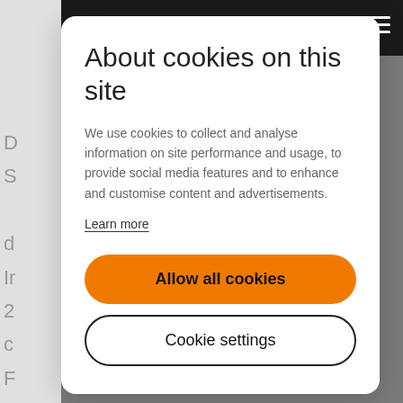About cookies on this site
We use cookies to collect and analyse information on site performance and usage, to provide social media features and to enhance and customise content and advertisements.
Learn more
Allow all cookies
Cookie settings